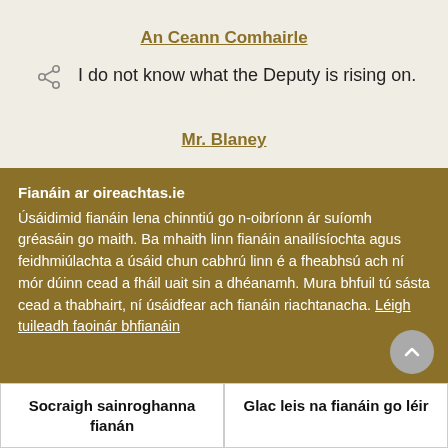An Ceann Comhairle
I do not know what the Deputy is rising on.
Mr. Blaney
Fianáin ar oireachtas.ie
Úsáidimid fianáin lena chinntiú go n-oibríonn ár suíomh gréasáin go maith. Ba mhaith linn fianáin anailísíochta agus feidhmiúlachta a úsáid chun cabhrú linn é a fheabhsú ach ní mór dúinn cead a fháil uait sin a dhéanamh. Mura bhfuil tú sásta cead a thabhairt, ní úsáidfear ach fianáin riachtanacha. Léigh tuileadh faoinár bhfianáin
Socraigh sainroghanna fianán
Glac leis na fianáin go léir